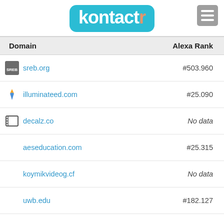kontactr
| Domain | Alexa Rank |
| --- | --- |
| sreb.org | #503.960 |
| illuminateed.com | #25.090 |
| decalz.co | No data |
| aeseducation.com | #25.315 |
| koymikvideog.cf | No data |
| uwb.edu | #182.127 |
| wordhippo.com | #2.102 |
| voki.com | #113.753 |